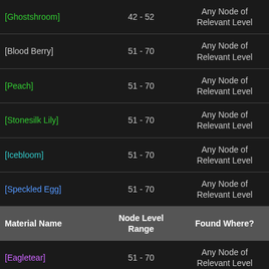| Material Name | Node Level Range | Found Where? |
| --- | --- | --- |
| [Ghostshroom] | 42 - 52 | Any Node of Relevant Level |
| [Blood Berry] | 51 - 70 | Any Node of Relevant Level |
| [Peach] | 51 - 70 | Any Node of Relevant Level |
| [Stonesilk Lily] | 51 - 70 | Any Node of Relevant Level |
| [Icebloom] | 51 - 70 | Any Node of Relevant Level |
| [Speckled Egg] | 51 - 70 | Any Node of Relevant Level |
| [Eagletear] | 51 - 70 | Any Node of Relevant Level |
| [Venomweed] | 51 - 70 | Any Node of Relevant Level |
| [Golembloom] | 51 - 90 | Any Node of Relevant Level |